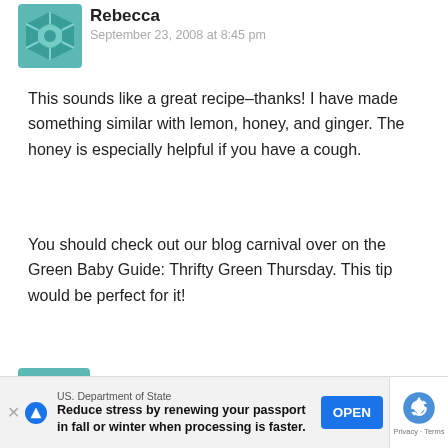[Figure (illustration): Teal/green geometric avatar icon for user Rebecca]
Rebecca
September 23, 2008 at 8:45 pm
This sounds like a great recipe–thanks! I have made something similar with lemon, honey, and ginger. The honey is especially helpful if you have a cough.
You should check out our blog carnival over on the Green Baby Guide: Thrifty Green Thursday. This tip would be perfect for it!
REPLY
[Figure (illustration): Teal/green geometric avatar icon for user MamaHenClucks]
MamaHenClucks
[Figure (infographic): US Department of State advertisement bar: 'Reduce stress by renewing your passport in fall or winter when processing is faster.' with OPEN button and reCAPTCHA Privacy Terms badge]